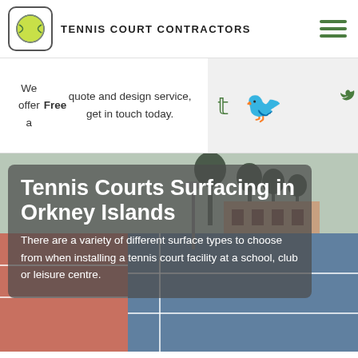TENNIS COURT CONTRACTORS
We offer a Free quote and design service, get in touch today.
[Figure (logo): Social media icons: Twitter, Tumblr, YouTube, Pinterest in green on grey background]
[Figure (photo): Tennis court facility photo with overlay box containing title and description]
Tennis Courts Surfacing in Orkney Islands
There are a variety of different surface types to choose from when installing a tennis court facility at a school, club or leisure centre.